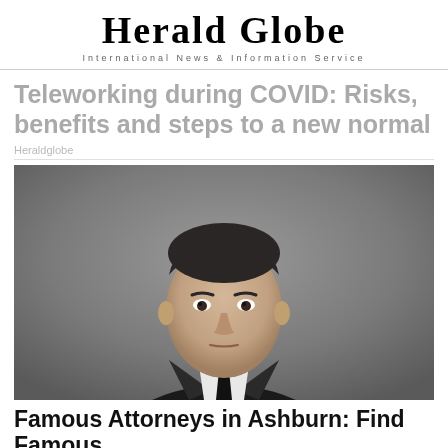Herald Globe
International News & Information Service
Teleworking during COVID: Risks, benefits and steps to a new normal
Heraldglobe
[Figure (photo): Professional headshot of a middle-aged man in a dark suit and black tie, with short dark hair, against a grey background, looking directly at camera with a serious expression.]
Famous Attorneys in Ashburn: Find Famous